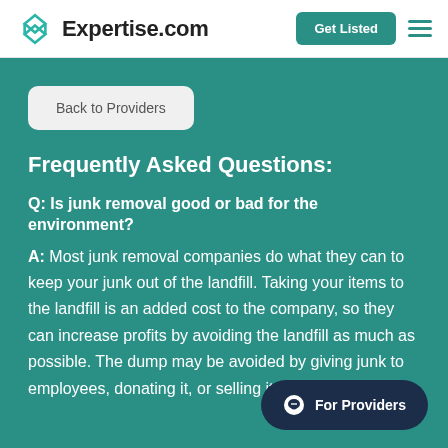Expertise.com | Get Listed
Back to Providers
Frequently Asked Questions:
Q: Is junk removal good or bad for the environment?
A: Most junk removal companies do what they can to keep your junk out of the landfill. Taking your items to the landfill is an added cost to the company, so they can increase profits by avoiding the landfill as much as possible. The dump may be avoided by giving junk to employees, donating it, or selling it.
For Providers